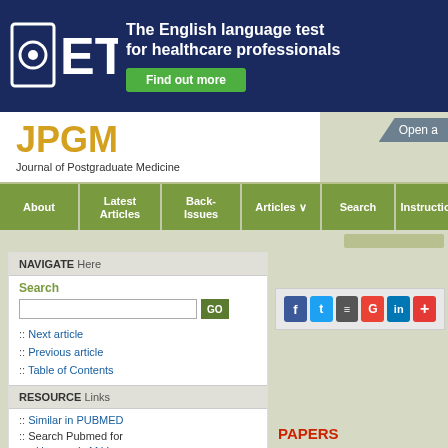[Figure (logo): OET logo and banner: The English language test for healthcare professionals with Find out more button]
JPGM
Journal of Postgraduate Medicine
Open a
About
Latest Articles
Back-Issues
Articles
Search
Instructions
NAVIGATE Here
Search
:: Next article
:: Previous article
:: Table of Contents
RESOURCE Links
:: Similar in PUBMED
:: Search Pubmed for
Hemmady M V
PAPERS